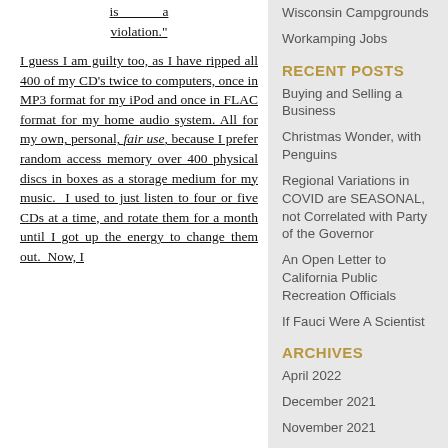is a violation."
I guess I am guilty too, as I have ripped all 400 of my CD's twice to computers, once in MP3 format for my iPod and once in FLAC format for my home audio system. All for my own, personal, fair use, because I prefer random access memory over 400 physical discs in boxes as a storage medium for my music. I used to just listen to four or five CDs at a time, and rotate them for a month until I got up the energy to change them out. Now, I
Wisconsin Campgrounds
Workamping Jobs
RECENT POSTS
Buying and Selling a Business
Christmas Wonder, with Penguins
Regional Variations in COVID are SEASONAL, not Correlated with Party of the Governor
An Open Letter to California Public Recreation Officials
If Fauci Were A Scientist
ARCHIVES
April 2022
December 2021
November 2021
October 2021
September 2021
August 2021
July 2021